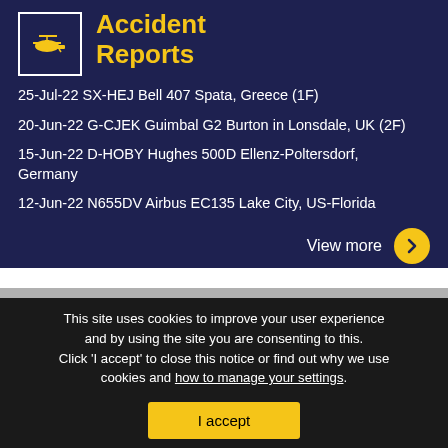Accident Reports
25-Jul-22 SX-HEJ Bell 407 Spata, Greece (1F)
20-Jun-22 G-CJEK Guimbal G2 Burton in Lonsdale, UK (2F)
15-Jun-22 D-HOBY Hughes 500D Ellenz-Poltersdorf, Germany
12-Jun-22 N655DV Airbus EC135 Lake City, US-Florida
View more
This site uses cookies to improve your user experience and by using the site you are consenting to this. Click 'I accept' to close this notice or find out why we use cookies and how to manage your settings.
I accept